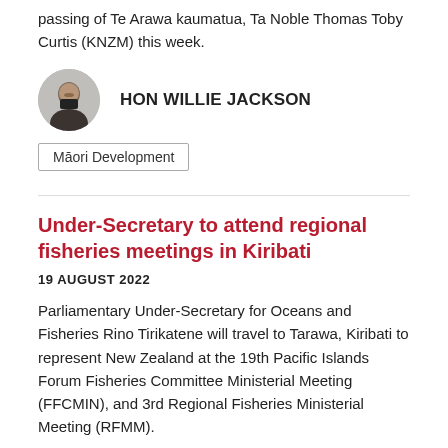passing of Te Arawa kaumatua, Ta Noble Thomas Toby Curtis (KNZM) this week.
HON WILLIE JACKSON
Māori Development
Under-Secretary to attend regional fisheries meetings in Kiribati
19 AUGUST 2022
Parliamentary Under-Secretary for Oceans and Fisheries Rino Tirikatene will travel to Tarawa, Kiribati to represent New Zealand at the 19th Pacific Islands Forum Fisheries Committee Ministerial Meeting (FFCMIN), and 3rd Regional Fisheries Ministerial Meeting (RFMM).